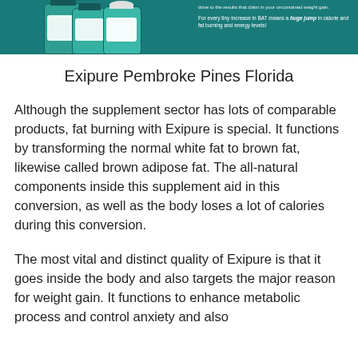[Figure (photo): Banner image showing Exipure supplement bottles against a teal/dark green background with promotional text about BAT increase for calorie and fat burning.]
Exipure Pembroke Pines Florida
Although the supplement sector has lots of comparable products, fat burning with Exipure is special. It functions by transforming the normal white fat to brown fat, likewise called brown adipose fat. The all-natural components inside this supplement aid in this conversion, as well as the body loses a lot of calories during this conversion.
The most vital and distinct quality of Exipure is that it goes inside the body and also targets the major reason for weight gain. It functions to enhance metabolic process and control anxiety and also...